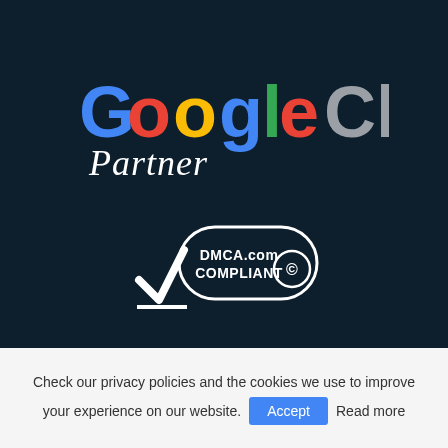[Figure (logo): Google Cloud Partner logo with colored Google letters and gray Cloud text, with 'Partner' in white cursive script below]
[Figure (logo): DMCA.com Compliant badge with checkmark and copyright symbol inside a rounded rectangle outline]
Check our privacy policies and the cookies we use to improve your experience on our website.
Accept  Read more